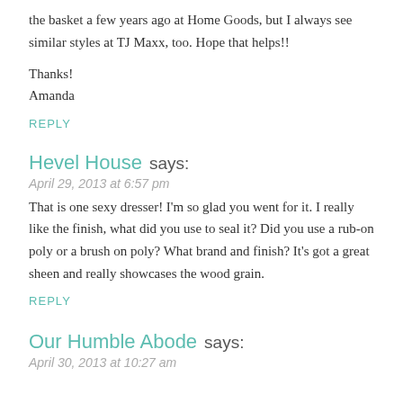the basket a few years ago at Home Goods, but I always see similar styles at TJ Maxx, too. Hope that helps!!
Thanks!
Amanda
REPLY
Hevel House says:
April 29, 2013 at 6:57 pm
That is one sexy dresser! I'm so glad you went for it. I really like the finish, what did you use to seal it? Did you use a rub-on poly or a brush on poly? What brand and finish? It's got a great sheen and really showcases the wood grain.
REPLY
Our Humble Abode says:
April 30, 2013 at 10:27 am